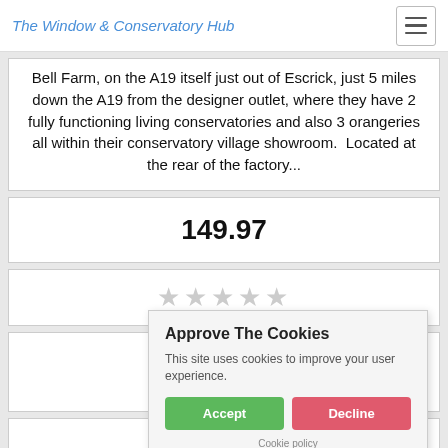The Window & Conservatory Hub
Bell Farm, on the A19 itself just out of Escrick, just 5 miles down the A19 from the designer outlet, where they have 2 fully functioning living conservatories and also 3 orangeries all within their conservatory village showroom. Located at the rear of the factory...
149.97
★★★★★
Get a Quote
[Figure (screenshot): Cookie consent popup overlay with Accept and Decline buttons. Title: Approve The Cookies. Text: This site uses cookies to improve your user experience. Green Accept button and pink/red Decline button. Cookie policy link at bottom.]
[Figure (other): Checkbox icon with a checkmark inside a square border]